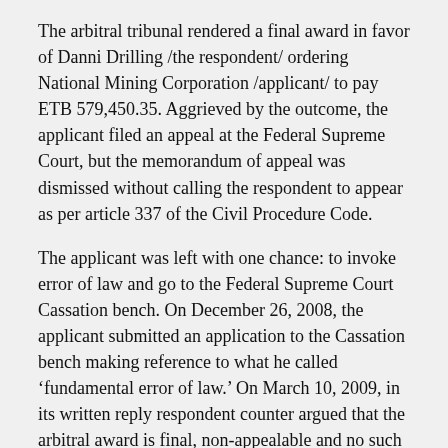The arbitral tribunal rendered a final award in favor of Danni Drilling /the respondent/ ordering National Mining Corporation /applicant/ to pay ETB 579,450.35. Aggrieved by the outcome, the applicant filed an appeal at the Federal Supreme Court, but the memorandum of appeal was dismissed without calling the respondent to appear as per article 337 of the Civil Procedure Code.
The applicant was left with one chance: to invoke error of law and go to the Federal Supreme Court Cassation bench. On December 26, 2008, the applicant submitted an application to the Cassation bench making reference to what he called ‘fundamental error of law.’ On March 10, 2009, in its written reply respondent counter argued that the arbitral award is final, non-appealable and no such error of law was committed.
After hearing both parties, the Cassation framed the two issues, but only one which is relevant to our topic will be discussed: would arbitration finality clauses prohibit